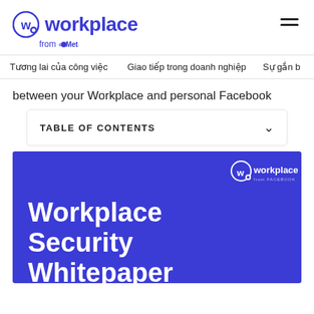workplace from Meta
Tương lai của công việc   Giao tiếp trong doanh nghiệp   Sự gắn b
between your Workplace and personal Facebook
TABLE OF CONTENTS
[Figure (illustration): Workplace Security Whitepaper cover image on blue/purple background with Workplace from Facebook logo in top right corner]